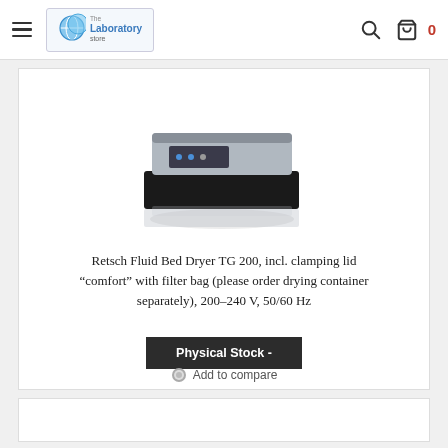The Laboratory Store — navigation bar with hamburger menu, search icon, cart icon (0 items)
[Figure (photo): Retsch Fluid Bed Dryer TG 200 laboratory equipment, a flat black and silver device with control panel, shown with its reflection on white background]
Retsch Fluid Bed Dryer TG 200, incl. clamping lid “comfort” with filter bag (please order drying container separately), 200–240 V, 50/60 Hz
Physical Stock -
Add to compare